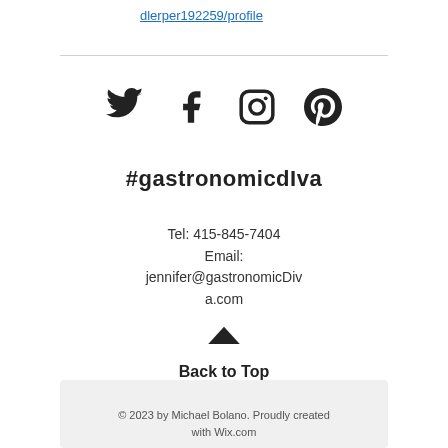dlerper192259/profile
[Figure (other): Social media icons: Twitter bird, Facebook f, Instagram camera, Pinterest p]
#gastronomicDIva
Tel: 415-845-7404
Email:
jennifer@gastronomicDiva.com
[Figure (other): Up chevron arrow icon for Back to Top]
Back to Top
© 2023 by Michael Bolano. Proudly created with Wix.com